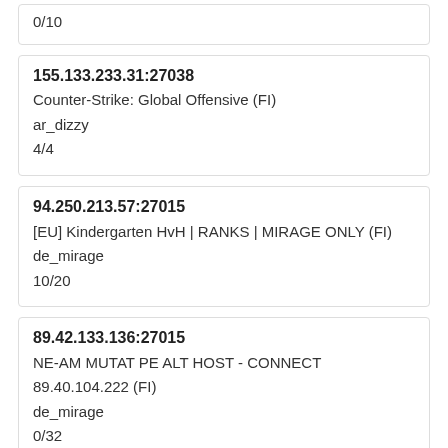0/10
155.133.233.31:27038
Counter-Strike: Global Offensive (FI)
ar_dizzy
4/4
94.250.213.57:27015
[EU] Kindergarten HvH | RANKS | MIRAGE ONLY (FI)
de_mirage
10/20
89.42.133.136:27015
NE-AM MUTAT PE ALT HOST - CONNECT 89.40.104.222 (FI)
de_mirage
0/32